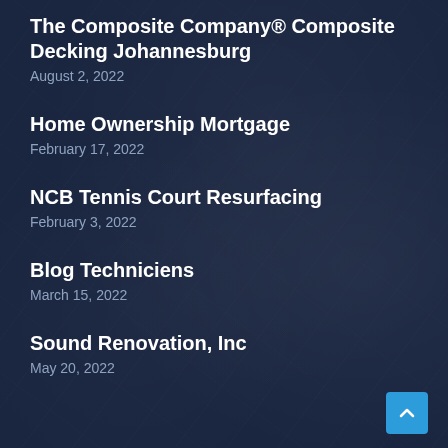The Composite Company® Composite Decking Johannesburg
August 2, 2022
Home Ownership Mortgage
February 17, 2022
NCB Tennis Court Resurfacing
February 3, 2022
Blog Techniciens
March 15, 2022
Sound Renovation, Inc
May 20, 2022